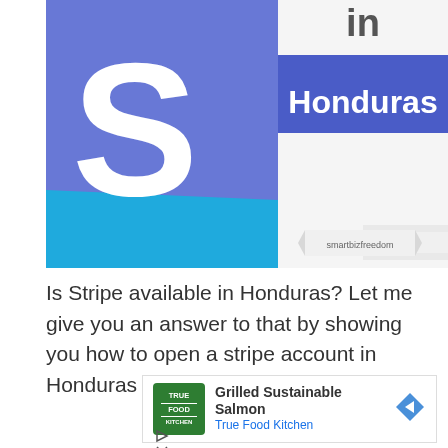[Figure (illustration): Hero image showing Stripe logo (white S on blue background) on the left and text 'in Honduras' with a blue rectangle background on the right, with a banner reading 'smartbizfreedom' at the bottom right]
Is Stripe available in Honduras? Let me give you an answer to that by showing you how to open a stripe account in Honduras for your online business.
[Figure (other): Advertisement for True Food Kitchen - Grilled Sustainable Salmon, with green True Food Kitchen logo, ad title, navigation arrow icon, play and close controls]